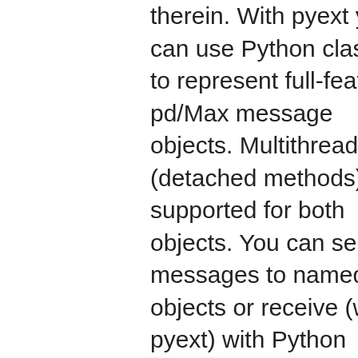therein. With pyext you can use Python classes to represent full-featured pd/Max message objects. Multithreading (detached methods) is supported for both objects. You can send messages to named objects or receive (with pyext) with Python methods.
Purity is a Python library for Pure Data dynamic patching. The idea is to be able to harness the power of Pure Data for audio programming without having to use its